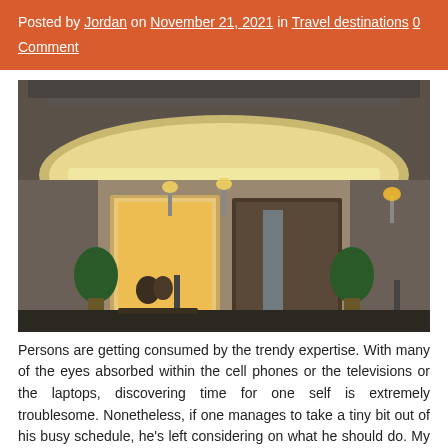Posted by Jordan on November 21, 2021 in Travel destinations 0 Comment
[Figure (photo): Exterior photograph of Hotel Regina at night, showing the illuminated hotel entrance with large decorative art deco canopy, brass lanterns, topiary plants, and revolving glass door.]
Persons are getting consumed by the trendy expertise. With many of the eyes absorbed within the cell phones or the televisions or the laptops, discovering time for one self is extremely troublesome. Nonetheless, if one manages to take a tiny bit out of his busy schedule, he's left considering on what he should do. My good friend